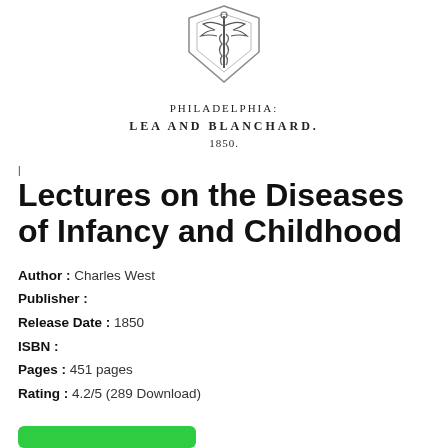[Figure (logo): Medical emblem/caduceus-style seal with snake and wings inside a chevron/shield shape, black and white engraving style]
PHILADELPHIA:
LEA AND BLANCHARD.
1850.
Lectures on the Diseases of Infancy and Childhood
Author : Charles West
Publisher :
Release Date : 1850
ISBN :
Pages : 451 pages
Rating : 4.2/5 (289 Download)